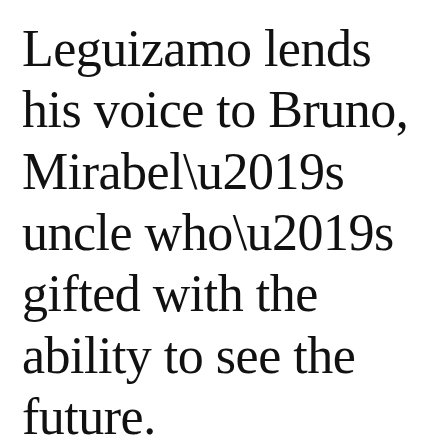Leguizamo lends his voice to Bruno, Mirabel’s uncle who’s gifted with the ability to see the future. Bruno’s honest, often doomsaying predictions aren’t